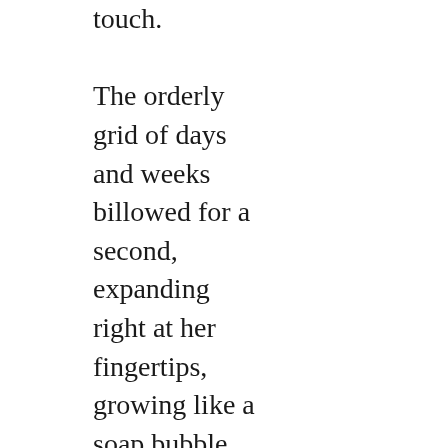touch.

The orderly grid of days and weeks billowed for a second, expanding right at her fingertips, growing like a soap bubble. When she blinked, it shrank back to normal.